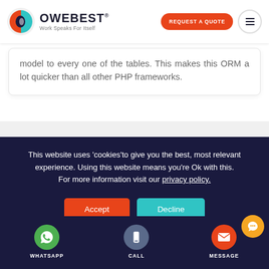OWEBEST® Work Speaks For Itself | REQUEST A QUOTE
model to every one of the tables. This makes this ORM a lot quicker than all other PHP frameworks.
This website uses 'cookies'to give you the best, most relevant experience. Using this website means you're Ok with this. For more information visit our privacy policy.
Accept | Decline
WHATSAPP | CALL | MESSAGE